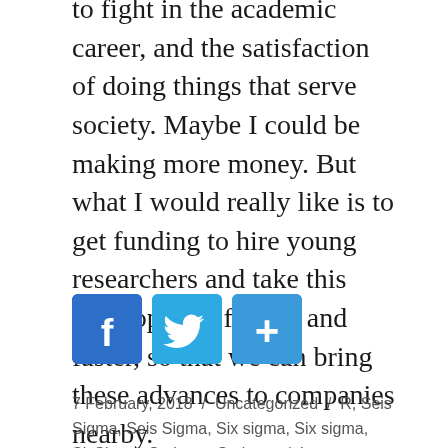to fight in the academic career, and the satisfaction of doing things that serve society. Maybe I could be making more money. But what I would really like is to get funding to hire young researchers and take this development further and faster, so that we can bring these advances to companies nearby.
[Figure (other): Social sharing buttons: Facebook (blue f), Twitter (blue bird), and a blue plus/share button]
7 February, 2018 / Uncategorized / R, Seis Sigma, Seis Sigma, Six sigma, Six sigma, SixSigma, Springer, Springer / Leave a comment
Six Sigma R package new